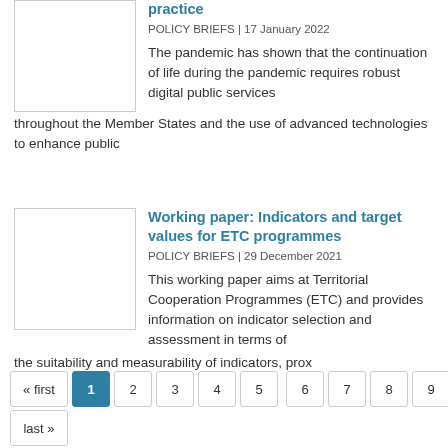practice
POLICY BRIEFS | 17 January 2022
The pandemic has shown that the continuation of life during the pandemic requires robust digital public services throughout the Member States and the use of advanced technologies to enhance public
Working paper: Indicators and target values for ETC programmes
POLICY BRIEFS | 29 December 2021
This working paper aims at Territorial Cooperation Programmes (ETC) and provides information on indicator selection and assessment in terms of the suitability and measurability of indicators, prox
« first  1  2  3  4  5  6  7  8  9  last »